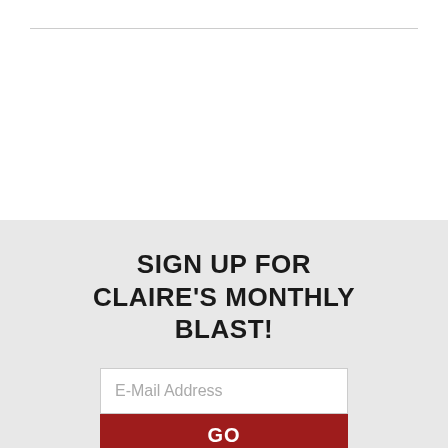SIGN UP FOR CLAIRE'S MONTHLY BLAST!
E-Mail Address
GO